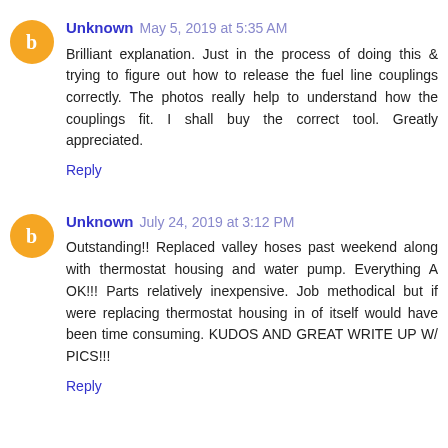Unknown May 5, 2019 at 5:35 AM
Brilliant explanation. Just in the process of doing this & trying to figure out how to release the fuel line couplings correctly. The photos really help to understand how the couplings fit. I shall buy the correct tool. Greatly appreciated.
Reply
Unknown July 24, 2019 at 3:12 PM
Outstanding!! Replaced valley hoses past weekend along with thermostat housing and water pump. Everything A OK!!! Parts relatively inexpensive. Job methodical but if were replacing thermostat housing in of itself would have been time consuming. KUDOS AND GREAT WRITE UP W/ PICS!!!
Reply